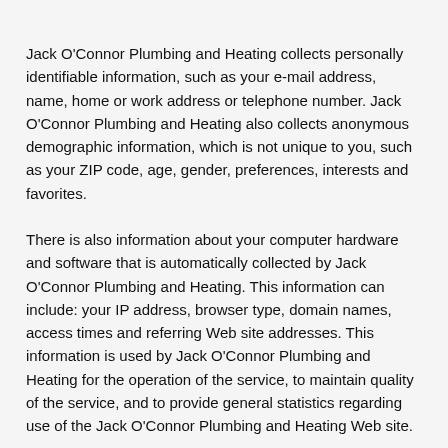Jack O'Connor Plumbing and Heating collects personally identifiable information, such as your e-mail address, name, home or work address or telephone number. Jack O'Connor Plumbing and Heating also collects anonymous demographic information, which is not unique to you, such as your ZIP code, age, gender, preferences, interests and favorites.
There is also information about your computer hardware and software that is automatically collected by Jack O'Connor Plumbing and Heating. This information can include: your IP address, browser type, domain names, access times and referring Web site addresses. This information is used by Jack O'Connor Plumbing and Heating for the operation of the service, to maintain quality of the service, and to provide general statistics regarding use of the Jack O'Connor Plumbing and Heating Web site.